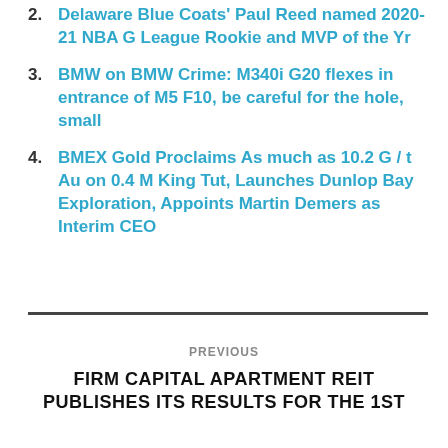2. Delaware Blue Coats' Paul Reed named 2020-21 NBA G League Rookie and MVP of the Yr
3. BMW on BMW Crime: M340i G20 flexes in entrance of M5 F10, be careful for the hole, small
4. BMEX Gold Proclaims As much as 10.2 G / t Au on 0.4 M King Tut, Launches Dunlop Bay Exploration, Appoints Martin Demers as Interim CEO
PREVIOUS
FIRM CAPITAL APARTMENT REIT PUBLISHES ITS RESULTS FOR THE 1ST